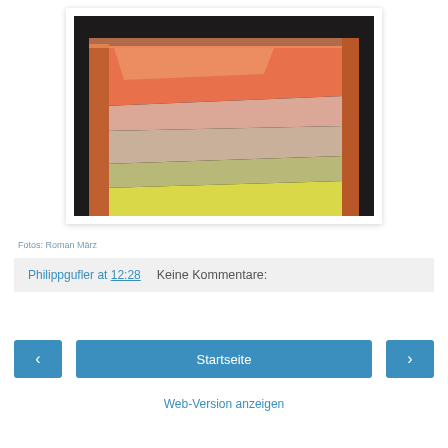[Figure (photo): Close-up photo of a rectangular tray or container viewed from corner angle, showing layered colored bands from orange-red at top through pink, beige, olive to yellow-green at bottom, set against a dark background.]
Fotos: Roman März
Philippgufler at 12:28    Keine Kommentare:
‹    Startseite    ›
Web-Version anzeigen